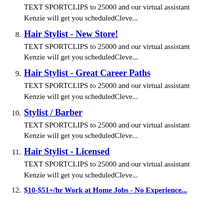TEXT SPORTCLIPS to 25000 and our virtual assistant Kenzie will get you scheduledCleve...
8. Hair Stylist - New Store!
TEXT SPORTCLIPS to 25000 and our virtual assistant Kenzie will get you scheduledCleve...
9. Hair Stylist - Great Career Paths
TEXT SPORTCLIPS to 25000 and our virtual assistant Kenzie will get you scheduledCleve...
10. Stylist / Barber
TEXT SPORTCLIPS to 25000 and our virtual assistant Kenzie will get you scheduledCleve...
11. Hair Stylist - Licensed
TEXT SPORTCLIPS to 25000 and our virtual assistant Kenzie will get you scheduledCleve...
12.